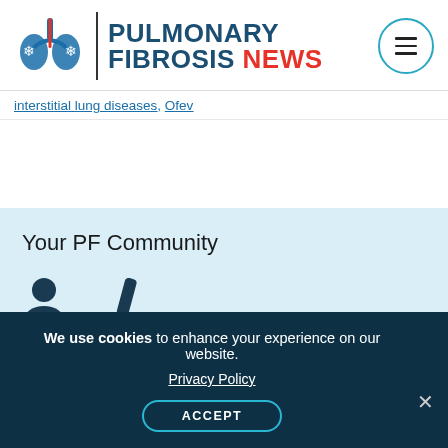Pulmonary Fibrosis News
interstitial lung diseases, Ofev
[Figure (illustration): Your PF Community banner with light blue background showing community icon illustrations]
Your PF Community
We use cookies to enhance your experience on our website. Privacy Policy ACCEPT